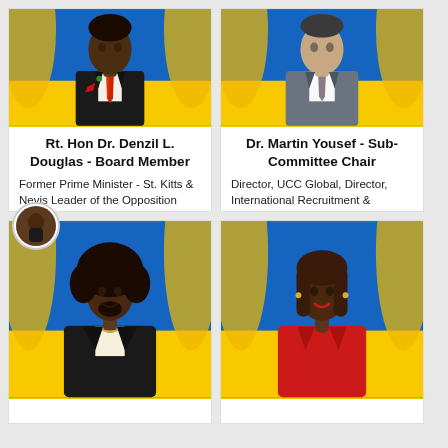[Figure (photo): Portrait photo of Rt. Hon Dr. Denzil L. Douglas in suit with red tie, against blue and yellow background]
Rt. Hon Dr. Denzil L. Douglas - Board Member
Former Prime Minister - St. Kitts & Nevis Leader of the Opposition
[Figure (photo): Portrait photo of Dr. Martin Yousef in grey suit with tie, against blue and yellow background]
Dr. Martin Yousef - Sub-Committee Chair
Director, UCC Global, Director, International Recruitment & Enrollment, UCCG
[Figure (photo): Portrait photo of a woman with curly hair in black blazer, against blue and yellow background]
[Figure (photo): Portrait photo of a woman in red blazer with straight hair, against blue and yellow background]